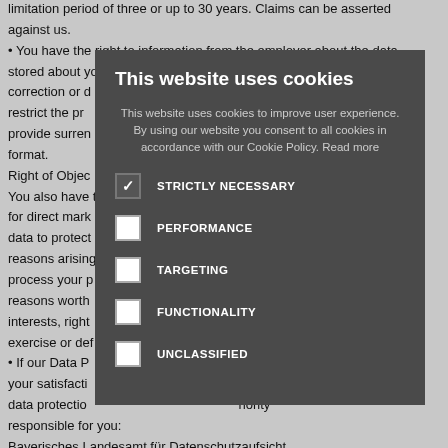limitation period of three or up to 30 years. Claims can be asserted against us.
You have the right to information from the employer about the data stored about you. You can request the correction or deletion. You have the right to restrict the processing of data you provide surrendered in a machine-readable format.
Right of Object
You also have the right to object to the processing of your personal data for direct marketing purposes, i.e. we process your data to protect our legitimate interests, processing for reasons arising from your particular situation, we can no longer process your personal data as long as our compelling legitimate reasons worthy of protection do not outweigh your interests, rights and freedoms, or to assert, exercise or defend legal claims.
If our Data Protection Officer does not respond to your request to your satisfaction, you have the right to complain to the data protection supervisory authority responsible for you:
Bayerisches Landesamt für Datenschutzaufsicht
[Figure (infographic): Cookie consent modal overlay with title 'This website uses cookies', descriptive text, and five cookie category checkboxes: STRICTLY NECESSARY (checked), PERFORMANCE (unchecked), TARGETING (unchecked), FUNCTIONALITY (unchecked), UNCLASSIFIED (unchecked).]